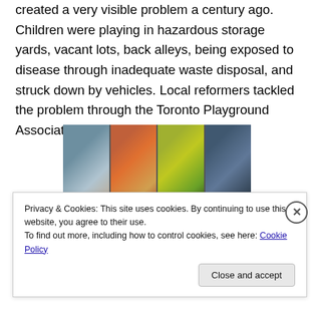created a very visible problem a century ago. Children were playing in hazardous storage yards, vacant lots, back alleys, being exposed to disease through inadequate waste disposal, and struck down by vehicles. Local reformers tackled the problem through the Toronto Playground Association.
[Figure (photo): Four-panel photo collage showing colorful architectural/playground imagery with various colors including blue, red/orange, yellow-green, and dark blue panels.]
Privacy & Cookies: This site uses cookies. By continuing to use this website, you agree to their use. To find out more, including how to control cookies, see here: Cookie Policy
Close and accept